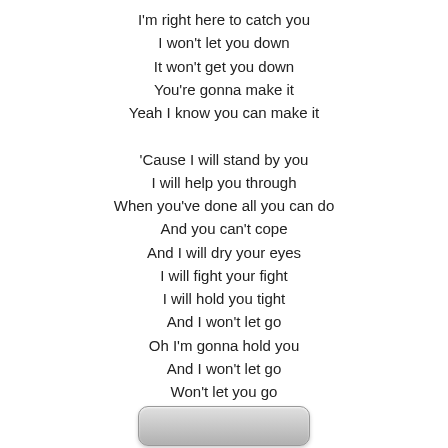I'm right here to catch you
I won't let you down
It won't get you down
You're gonna make it
Yeah I know you can make it

'Cause I will stand by you
I will help you through
When you've done all you can do
And you can't cope
And I will dry your eyes
I will fight your fight
I will hold you tight
And I won't let go
Oh I'm gonna hold you
And I won't let go
Won't let you go
No I won't
[Figure (other): A rounded rectangular button element at the bottom of the page]